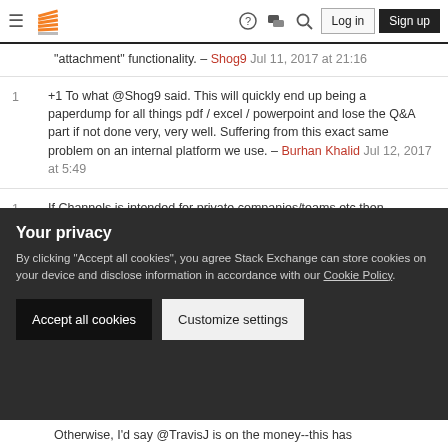Stack Exchange navigation bar with hamburger menu, logo, help, chat, search icons, Log in and Sign up buttons
"attachment" functionality. – Shog9 Jul 11, 2017 at 21:16
1  +1 To what @Shog9 said. This will quickly end up being a paperdump for all things pdf / excel / powerpoint and lose the Q&A part if not done very, very well. Suffering from this exact same problem on an internal platform we use. – Burhan Khalid Jul 12, 2017 at 5:49
1  If Channels is intended for private companies/teams etc then chances are they already have a centralized location for documents that the relevant users can be granted access to internally - GoogleDrive, DropBox, OneDrive, SharePoint, etc - why reduplicate that effort
Your privacy
By clicking "Accept all cookies", you agree Stack Exchange can store cookies on your device and disclose information in accordance with our Cookie Policy.
Accept all cookies
Customize settings
Otherwise, I'd say @TravisJ is on the money--this has